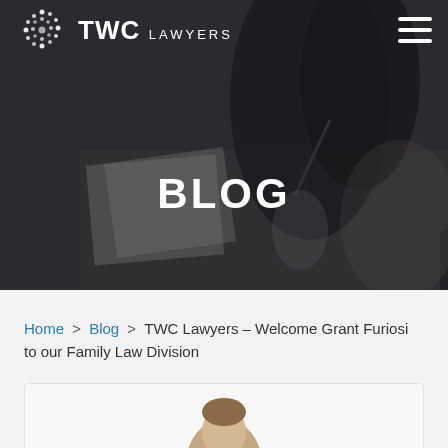[Figure (photo): Dark hero image of a person in black clothing writing on paper at a desk, with dim overlay. TWC Lawyers logo top left, hamburger menu top right, 'BLOG' text centered.]
BLOG
Home > Blog > TWC Lawyers – Welcome Grant Furiosi to our Family Law Division
[Figure (photo): Partial photo of a person (Grant Furiosi) at the bottom of the page, showing top of head, inside a card frame.]